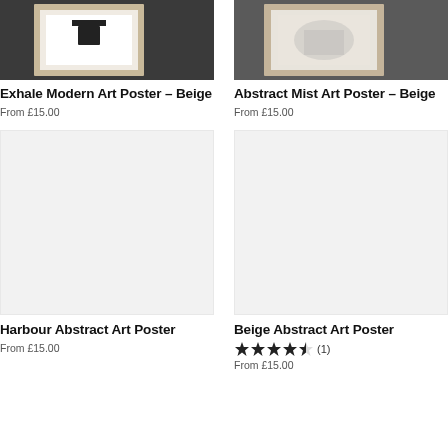[Figure (photo): Framed art print on dark background - Exhale Modern Art Poster Beige]
Exhale Modern Art Poster – Beige
From £15.00
[Figure (photo): Framed art print on dark background - Abstract Mist Art Poster Beige]
Abstract Mist Art Poster – Beige
From £15.00
[Figure (photo): Light grey placeholder image for Harbour Abstract Art Poster]
Harbour Abstract Art Poster
From £15.00
[Figure (photo): Light grey placeholder image for Beige Abstract Art Poster]
Beige Abstract Art Poster
★★★★★ (1)
From £15.00